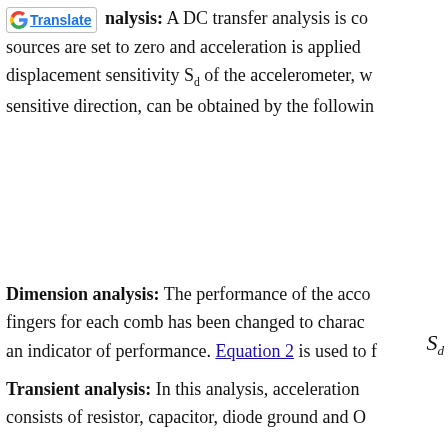DC transfer analysis: A DC transfer analysis is co... sources are set to zero and acceleration is applied... displacement sensitivity S_d of the accelerometer, w... sensitive direction, can be obtained by the following...
Dimension analysis: The performance of the acco... fingers for each comb has been changed to charac... an indicator of performance. Equation 2 is used to f...
Transient analysis: In this analysis, acceleration... consists of resistor, capacitor, diode ground and O...